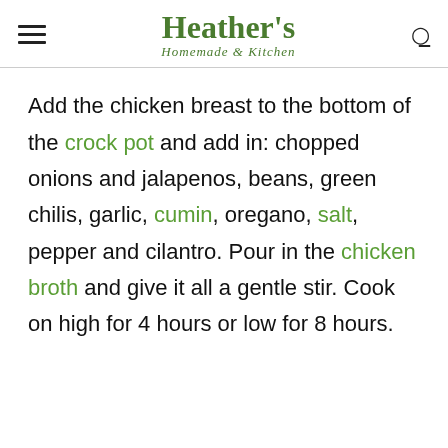Heather's Homemade Kitchen
Add the chicken breast to the bottom of the crock pot and add in: chopped onions and jalapenos, beans, green chilis, garlic, cumin, oregano, salt, pepper and cilantro. Pour in the chicken broth and give it all a gentle stir. Cook on high for 4 hours or low for 8 hours.